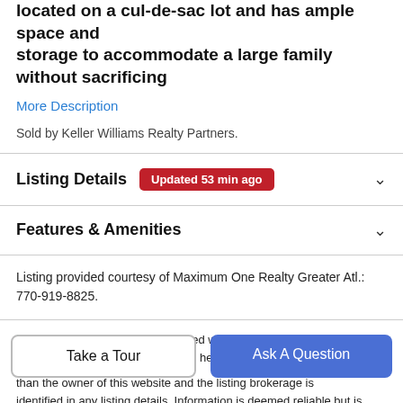located on a cul-de-sac lot and has ample space and storage to accommodate a large family without sacrificing
More Description
Sold by Keller Williams Realty Partners.
Listing Details   Updated 53 min ago
Features & Amenities
Listing provided courtesy of Maximum One Realty Greater Atl.: 770-919-8825.
[Figure (logo): FMLS IDX logo in green]
Listings identified with the FMLS IDX logo come from FMLS, are held by brokerage firms other than the owner of this website and the listing brokerage is identified in any listing details. Information is deemed reliable but is